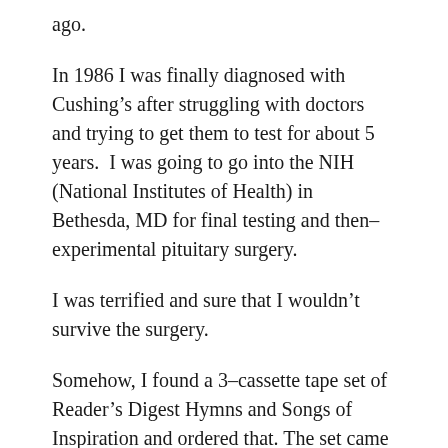ago.
In 1986 I was finally diagnosed with Cushing’s after struggling with doctors and trying to get them to test for about 5 years.  I was going to go into the NIH (National Institutes of Health) in Bethesda, MD for final testing and then–experimental pituitary surgery.
I was terrified and sure that I wouldn’t survive the surgery.
Somehow, I found a 3–cassette tape set of Reader’s Digest Hymns and Songs of Inspiration and ordered that. The set came just before I went to NIH and I